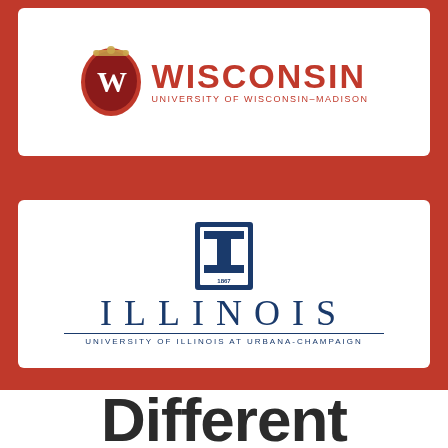[Figure (logo): University of Wisconsin-Madison logo with W crest and text WISCONSIN / UNIVERSITY OF WISCONSIN-MADISON]
[Figure (logo): University of Illinois at Urbana-Champaign logo with I column emblem and text ILLINOIS / UNIVERSITY OF ILLINOIS AT URBANA-CHAMPAIGN]
Different